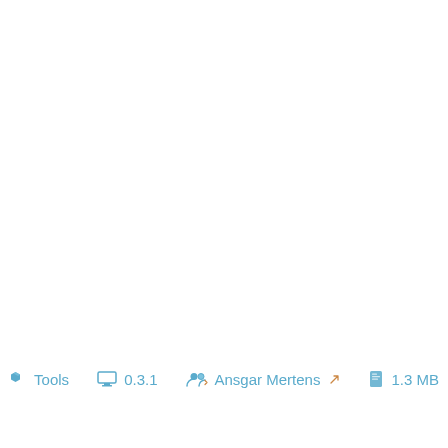Tools   0.3.1   Ansgar Mertens   1.3 MB